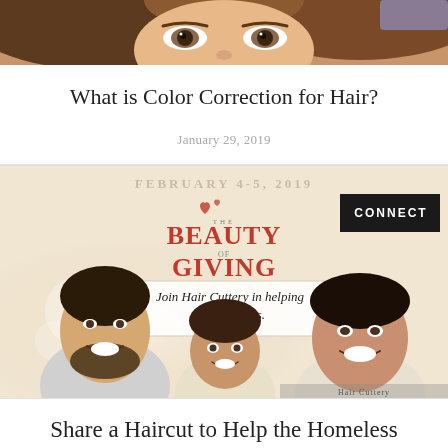[Figure (photo): Close-up photo of a woman's face with brown curly hair and brown eyes]
What is Color Correction for Hair?
January 29, 2019
[Figure (photo): Promotional image for 'The Beauty of Giving' event February 4-5, 2019, featuring Hair Cuttery helping the homeless. Shows a family of three smiling (man, young girl, woman) with the Beauty of Giving logo and a CONNECT button. Text reads: Join Hair Cuttery in helping the homeless.]
Share a Haircut to Help the Homeless
January 25, 2019